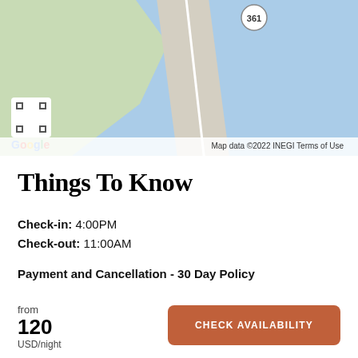[Figure (map): Google Maps screenshot showing a coastal area with a road (Route 361) on a peninsula, water in blue, land in light green. Expand icon visible in bottom-left of map. Google logo and map attribution at bottom.]
Map data ©2022 INEGI  Terms of Use
Things To Know
Check-in: 4:00PM
Check-out: 11:00AM
Payment and Cancellation - 30 Day Policy
from
120
USD/night
CHECK AVAILABILITY